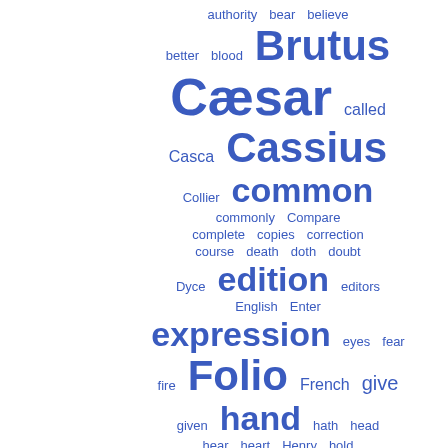[Figure (other): Word cloud of terms related to Shakespeare's Julius Caesar scholarly edition, displayed in shades of blue with varying font sizes indicating frequency. Words include: authority, bear, believe, better, blood, Brutus, Cæsar, called, Casca, Cassius, Collier, common, commonly, Compare, complete, copies, correction, course, death, doth, doubt, Dyce, edition, editors, English, Enter, expression, eyes, fear, fire, Folio, French, give, given, hand, hath, head, hear, heart, Henry, hold, honor, Hudson, instance, kind, King, language, Latin, least, live, look, lord, lost, Lucius, manner, March]